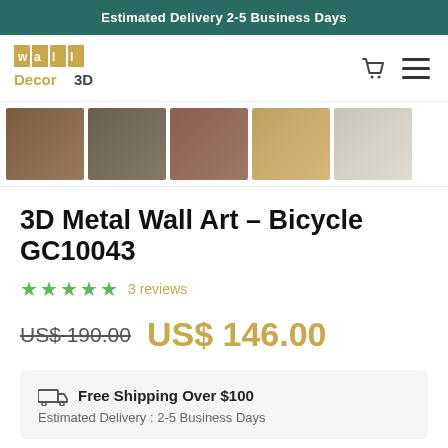Estimated Delivery 2-5 Business Days
[Figure (logo): Wall Decor 3D logo with gold tiles and text]
[Figure (photo): Row of 5 product thumbnail images showing 3D metal bicycle wall art and room settings]
3D Metal Wall Art – Bicycle GC10043
★★★★★ 3 reviews
US$ 190.00  US$ 146.00
Free Shipping Over $100
Estimated Delivery : 2-5 Business Days